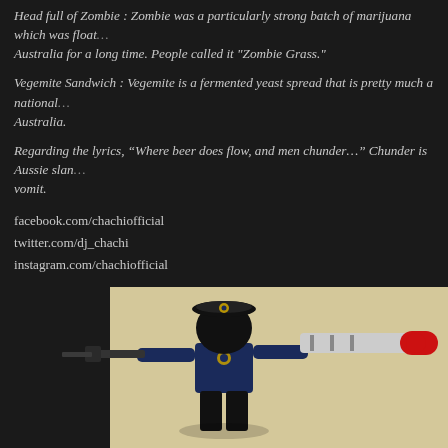Head full of Zombie : Zombie was a particularly strong batch of marijuana which was floating around Australia for a long time. People called it "Zombie Grass."
Vegemite Sandwich : Vegemite is a fermented yeast spread that is pretty much a national staple in Australia.
Regarding the lyrics, “Where beer does flow, and men chunder…” Chunder is Aussie slang for vomit.
facebook.com/chachiofficial
twitter.com/dj_chachi
instagram.com/chachiofficial
facebook.com/realdjpaige
twitter.com/realdjpaige
Instagram.com/realdjpaige
Posted in house
Tags: chicago, men at work, paige, remix, soundcloud
October Glow •March 18, 2015 • 1 Comment
[Figure (photo): Close-up photo of a Lego police minifigure holding weapons, with beige background and dark accessories]